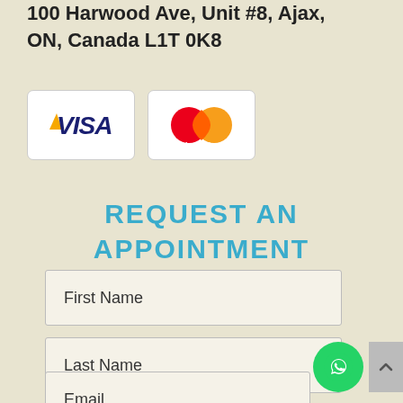100 Harwood Ave, Unit #8, Ajax, ON, Canada L1T 0K8
[Figure (logo): VISA payment logo - blue italic text with yellow chevron]
[Figure (logo): MasterCard payment logo - red and yellow overlapping circles]
REQUEST AN APPOINTMENT
First Name
Last Name
Email